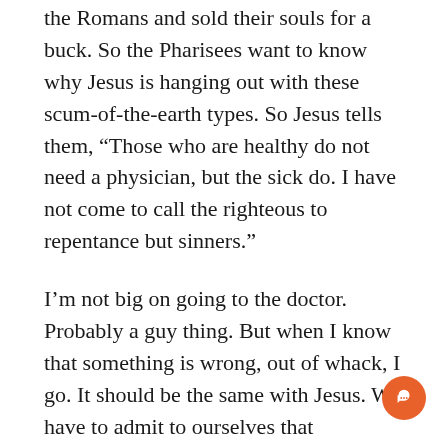the Romans and sold their souls for a buck. So the Pharisees want to know why Jesus is hanging out with these scum-of-the-earth types. So Jesus tells them, “Those who are healthy do not need a physician, but the sick do. I have not come to call the righteous to repentance but sinners.”
I’m not big on going to the doctor. Probably a guy thing. But when I know that something is wrong, out of whack, I go. It should be the same with Jesus. We have to admit to ourselves that something is wrong, out of whack. That spiritually, we need to go see the doctor. And that’s where our Divine